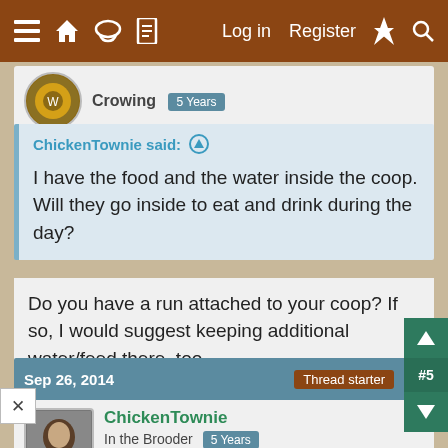≡  🏠  💬  📄    Log in   Register   ⚡   🔍
Crowing  5 Years
ChickenTownie said: ↑
I have the food and the water inside the coop. Will they go inside to eat and drink during the day?
Do you have a run attached to your coop? If so, I would suggest keeping additional water/feed there, too.
↩ Reply
Sep 26, 2014   Thread starter   #5
ChickenTownie
In the Brooder  5 Years
Ya, I have an attached run. I will put some water out there